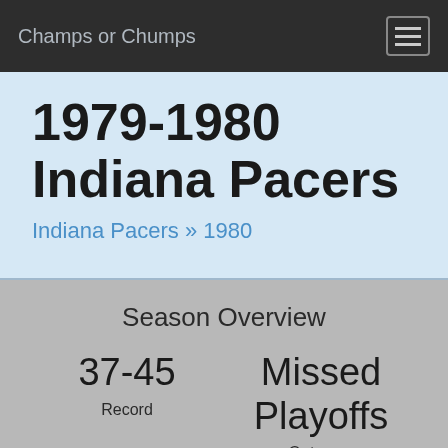Champs or Chumps
1979-1980 Indiana Pacers
Indiana Pacers » 1980
Season Overview
37-45
Missed Playoffs
Record
Outcome